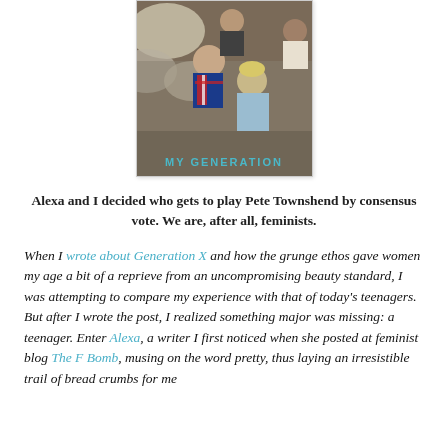[Figure (photo): Album cover for 'My Generation' showing young men photographed from above, with text 'MY GENERATION' in cyan/teal at the bottom]
Alexa and I decided who gets to play Pete Townshend by consensus vote. We are, after all, feminists.
When I wrote about Generation X and how the grunge ethos gave women my age a bit of a reprieve from an uncompromising beauty standard, I was attempting to compare my experience with that of today's teenagers. But after I wrote the post, I realized something major was missing: a teenager. Enter Alexa, a writer I first noticed when she posted at feminist blog The F Bomb, musing on the word pretty, thus laying an irresistible trail of bread crumbs for me